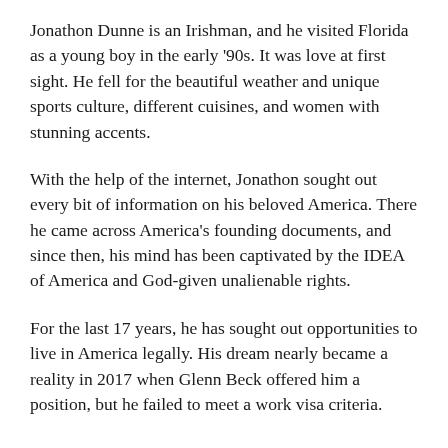Jonathon Dunne is an Irishman, and he visited Florida as a young boy in the early '90s. It was love at first sight. He fell for the beautiful weather and unique sports culture, different cuisines, and women with stunning accents.
With the help of the internet, Jonathon sought out every bit of information on his beloved America. There he came across America's founding documents, and since then, his mind has been captivated by the IDEA of America and God-given unalienable rights.
For the last 17 years, he has sought out opportunities to live in America legally. His dream nearly became a reality in 2017 when Glenn Beck offered him a position, but he failed to meet a work visa criteria.